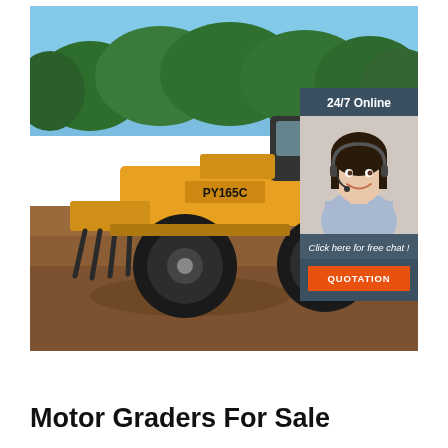[Figure (photo): Yellow motor grader (PY165C) parked on a dirt lot with green trees and blue sky in background. An orange-and-black construction machine with large tires and front ripper attachments. Overlaid on the right side is a 24/7 online chat widget showing a smiling female customer service agent wearing a headset, with a dark blue-gray panel reading '24/7 Online', 'Click here for free chat!', and an orange 'QUOTATION' button.]
Motor Graders For Sale